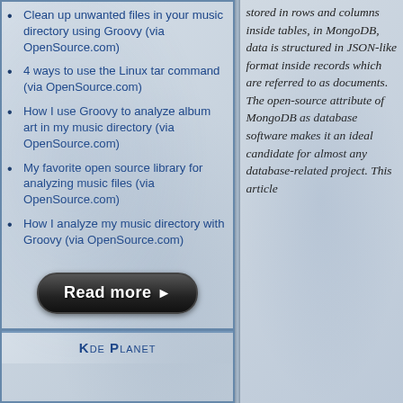Clean up unwanted files in your music directory using Groovy (via OpenSource.com)
4 ways to use the Linux tar command (via OpenSource.com)
How I use Groovy to analyze album art in my music directory (via OpenSource.com)
My favorite open source library for analyzing music files (via OpenSource.com)
How I analyze my music directory with Groovy (via OpenSource.com)
[Figure (other): Read more button — dark rounded pill button with white text 'Read more ►']
KDE PLANET
stored in rows and columns inside tables, in MongoDB, data is structured in JSON-like format inside records which are referred to as documents. The open-source attribute of MongoDB as database software makes it an ideal candidate for almost any database-related project. This article